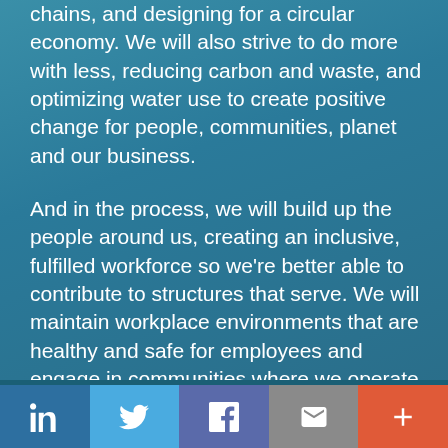chains, and designing for a circular economy. We will also strive to do more with less, reducing carbon and waste, and optimizing water use to create positive change for people, communities, planet and our business.
And in the process, we will build up the people around us, creating an inclusive, fulfilled workforce so we're better able to contribute to structures that serve. We will maintain workplace environments that are healthy and safe for employees and engage in communities where we operate to make them vibrant places to live and work.
[Figure (infographic): Social media share bar with five icons: LinkedIn, Twitter, Facebook, Email, and More (+)]